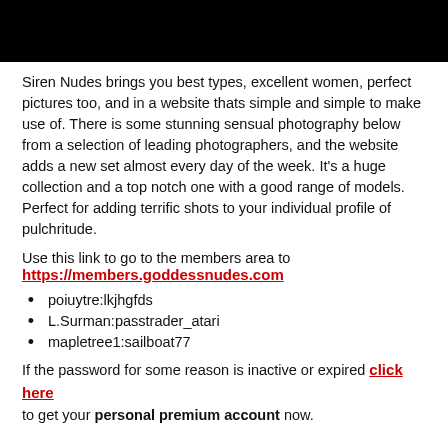[Figure (photo): Black banner/header image at top of page]
Siren Nudes brings you best types, excellent women, perfect pictures too, and in a website thats simple and simple to make use of. There is some stunning sensual photography below from a selection of leading photographers, and the website adds a new set almost every day of the week. It's a huge collection and a top notch one with a good range of models. Perfect for adding terrific shots to your individual profile of pulchritude.
Use this link to go to the members area to https://members.goddessnudes.com
poiuytre:lkjhgfds
L.Surman:passtrader_atari
mapletree1:sailboat77
If the password for some reason is inactive or expired click here to get your personal premium account now.